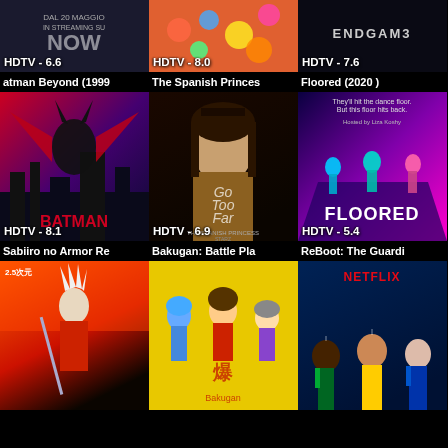[Figure (screenshot): Streaming app grid showing movie/TV show posters with HDTV ratings. Row 1 (partial): unknown show HDTV-6.6, unknown show HDTV-8.0, Endgame HDTV-7.6. Row 2: Batman Beyond (1999) HDTV-8.1, The Spanish Princess HDTV-6.9, Floored (2020) HDTV-5.4. Row 3 (partial): Sabiiro no Armor Re, Bakugan: Battle Pla, ReBoot: The Guardi.]